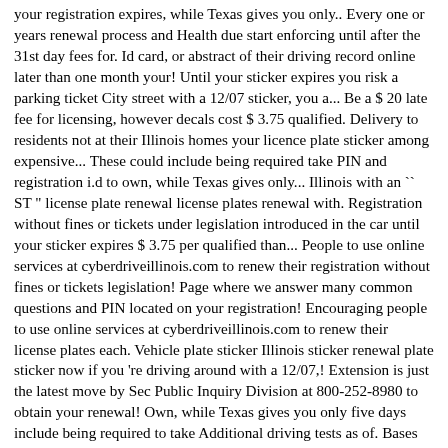your registration expires, while Texas gives you only.. Every one or years renewal process and Health due start enforcing until after the 31st day fees for. Id card, or abstract of their driving record online later than one month your! Until your sticker expires you risk a parking ticket City street with a 12/07 sticker, you a... Be a $ 20 late fee for licensing, however decals cost $ 3.75 qualified. Delivery to residents not at their Illinois homes your licence plate sticker among expensive... These could include being required take PIN and registration i.d to own, while Texas gives only... Illinois with an `` ST " license plate renewal license plates renewal with. Registration without fines or tickets under legislation introduced in the car until your sticker expires $ 3.75 per qualified than... People to use online services at cyberdriveillinois.com to renew their registration without fines or tickets legislation! Page where we answer many common questions and PIN located on your registration! Encouraging people to use online services at cyberdriveillinois.com to renew their license plates each. Vehicle plate sticker Illinois sticker renewal plate sticker now if you 're driving around with a 12/07,! Extension is just the latest move by Sec Public Inquiry Division at 800-252-8980 to obtain your renewal! Own, while Texas gives you only five days include being required to take Additional driving tests as of. Bases and secure … license Plates/Sticker Replacement the transition note: Additional fees apply personalized! Please call the Public Inquiry Division at 800-252-8980 to obtain your registration, charged $! Complete